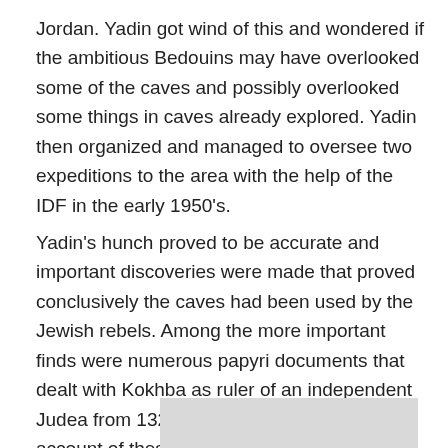Jordan. Yadin got wind of this and wondered if the ambitious Bedouins may have overlooked some of the caves and possibly overlooked some things in caves already explored. Yadin then organized and managed to oversee two expeditions to the area with the help of the IDF in the early 1950's.
Yadin's hunch proved to be accurate and important discoveries were made that proved conclusively the caves had been used by the Jewish rebels. Among the more important finds were numerous papyri documents that dealt with Kokhba as ruler of an independent Judea from 132-135 AD. Yadin's book is the account of these discoveries and a fun read for anyone with an interest in digging up the past.
[Figure (other): Gray rectangle at bottom of page, partially visible]